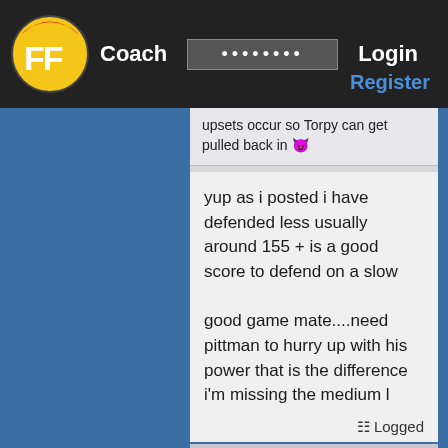FF Coach  ••••••••  Login  Register
upsets occur so Torpy can get pulled back in 😈
yup as i posted i have defended less usually around 155 + is a good score to defend on a slow

good game mate....need pittman to hurry up with his power that is the difference i'm missing the medium l
Logged
Re: S28: FF Elite (Friendly Comp)
« Reply #26 on: August 27, 2015, 07:03:53 pm »
Power
Moderator
Seasoned Coach
Torp how do you justify Ohanga above Simon? 😛 At least I can